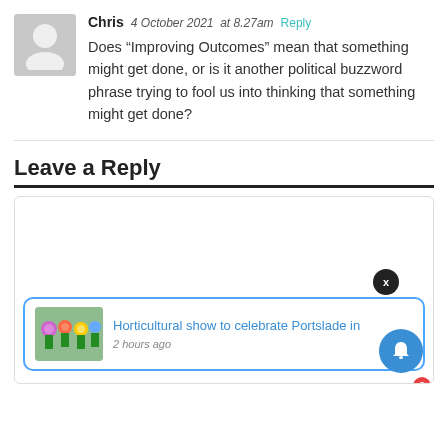[Figure (illustration): Gray avatar silhouette icon in a light gray square box]
Chris  4 October 2021  at 8.27am  Reply
Does “Improving Outcomes” mean that something might get done, or is it another political buzzword phrase trying to fool us into thinking that something might get done?
Leave a Reply
[Figure (screenshot): Comment reply text input box with a notification popup showing 'Horticultural show to celebrate Portslade in' posted 2 hours ago, with a close X button and a blue bell notification button with badge showing 3]